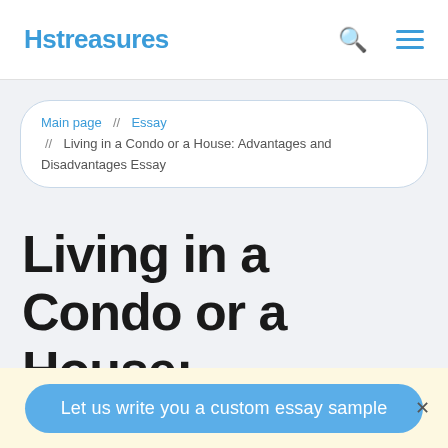Hstreasures
Main page // Essay // Living in a Condo or a House: Advantages and Disadvantages Essay
Living in a Condo or a House: Advantages and Disadvantages Essay
Let us write you a custom essay sample